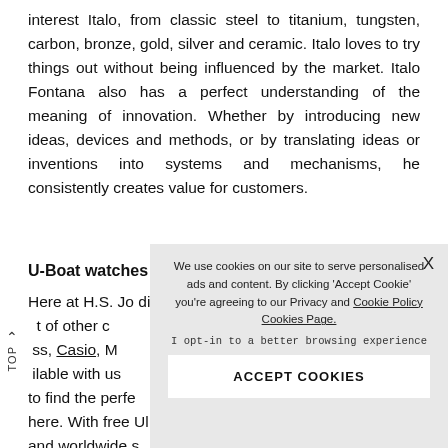interest Italo, from classic steel to titanium, tungsten, carbon, bronze, gold, silver and ceramic. Italo loves to try things out without being influenced by the market. Italo Fontana also has a perfect understanding of the meaning of innovation. Whether by introducing new ideas, devices and methods, or by translating ideas or inventions into systems and mechanisms, he consistently creates value for customers.
U-Boat watches
Here at H.S. Jo... different U-Boat ... t of other c... ss, Casio, M... ilable with us... to find the perfe... here. With free Ul... and worldwide s... you are, we can get your orders to you.
[Figure (screenshot): Cookie consent modal overlay with text: 'We use cookies on our site to serve personalised ads and content. By clicking Accept Cookie you're agreeing to our Privacy and Cookie Policy Cookies Page.' and 'I opt-in to a better browsing experience' with an ACCEPT COOKIES button.]